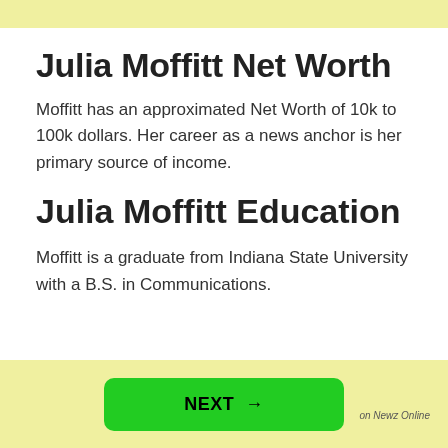Julia Moffitt Net Worth
Moffitt has an approximated Net Worth of 10k to 100k dollars. Her career as a news anchor is her primary source of income.
Julia Moffitt Education
Moffitt is a graduate from Indiana State University with a B.S. in Communications.
NEXT → on Newz Online